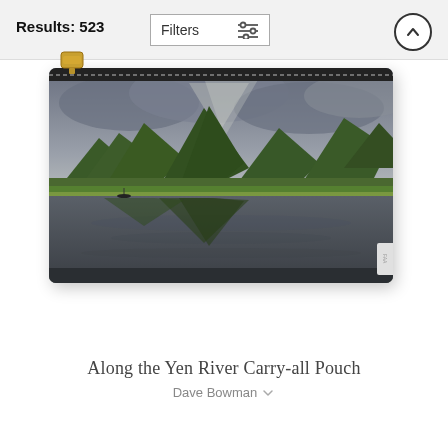Results: 523
[Figure (screenshot): A carry-all pouch product listing showing a landscape photo of mountains reflecting in the Yen River under a dramatic cloudy sky, with a gold zipper at top. UI shows 'Results: 523', a Filters button, and an up arrow button.]
Along the Yen River Carry-all Pouch
Dave Bowman